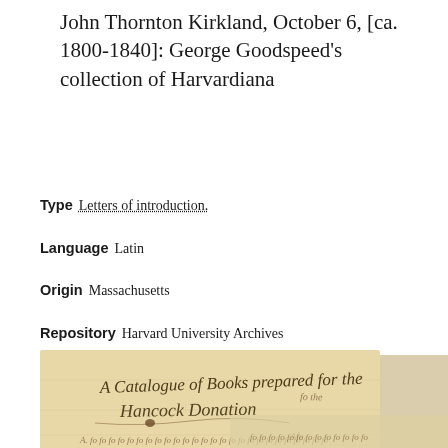John Thornton Kirkland, October 6, [ca. 1800-1840]: George Goodspeed's collection of Harvardiana
Type   Letters of introduction.
Language   Latin
Origin   Massachusetts
Repository   Harvard University Archives
Bookmark   ○
[Figure (photo): Historical handwritten document showing cursive script reading 'A Catalogue of Books prepared for the Hancock Donation', with overlapping aged paper documents.]